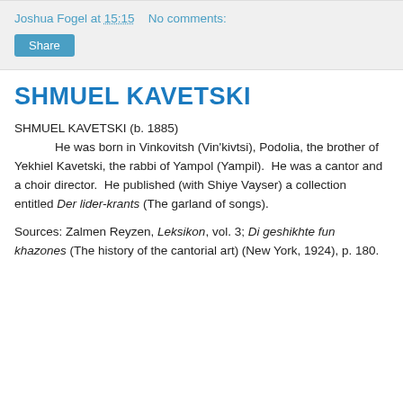Joshua Fogel at 15:15    No comments:
Share
SHMUEL KAVETSKI
SHMUEL KAVETSKI (b. 1885)
            He was born in Vinkovitsh (Vin'kivtsi), Podolia, the brother of Yekhiel Kavetski, the rabbi of Yampol (Yampil).  He was a cantor and a choir director.  He published (with Shiye Vayser) a collection entitled Der lider-krants (The garland of songs).
Sources: Zalmen Reyzen, Leksikon, vol. 3; Di geshikhte fun khazones (The history of the cantorial art) (New York, 1924), p. 180.